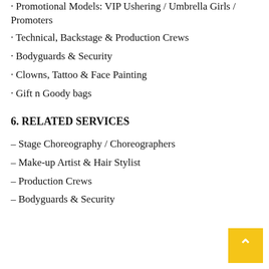· Promotional Models: VIP Ushering / Umbrella Girls / Promoters
· Technical, Backstage & Production Crews
· Bodyguards & Security
· Clowns, Tattoo & Face Painting
· Gift n Goody bags
6. RELATED SERVICES
– Stage Choreography / Choreographers
– Make-up Artist & Hair Stylist
– Production Crews
– Bodyguards & Security